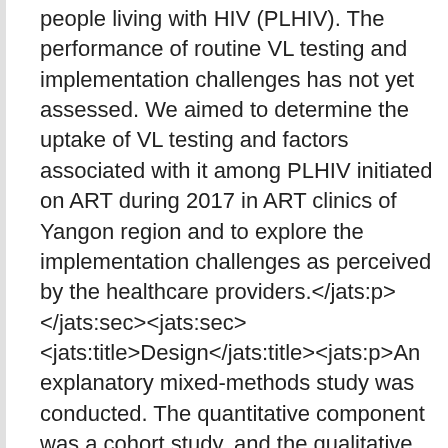people living with HIV (PLHIV). The performance of routine VL testing and implementation challenges has not yet assessed. We aimed to determine the uptake of VL testing and factors associated with it among PLHIV initiated on ART during 2017 in ART clinics of Yangon region and to explore the implementation challenges as perceived by the healthcare providers.</jats:p></jats:sec><jats:sec><jats:title>Design</jats:title><jats:p>An explanatory mixed-methods study was conducted. The quantitative component was a cohort study, and the qualitative part was a descriptive study with in-depth interviews.</jats:p></jats:sec><jats:sec><jats:title>Setting</jats:title><jats:p>Six ART clinics operated by AIDS/sexually transmitted infection teams under the National AIDS Programme.</jats:p></jats:sec><jats:sec><jats:title>Primary outcome measures</jats:title><jats:p>(1) The proportion who underwent VL testing by 30 March